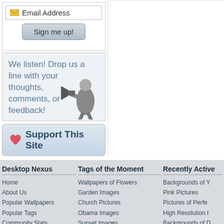[Figure (screenshot): Email address input field with envelope icon]
[Figure (screenshot): Sign me up! button]
We listen! Drop us a line with your thoughts, comments, or feedback!
[Figure (photo): Black and white image of man with megaphone]
[Figure (screenshot): Support This Site button with heart icon]
Desktop Nexus
Home
About Us
Popular Wallpapers
Popular Tags
Community Stats
Member List
Contact Us
Tags of the Moment
Wallpapers of Flowers
Garden Images
Church Pictures
Obama Images
Sunset Images
Thanksgiving Wallpapers
Christmas Wallpapers
Recently Active
Backgrounds of Y
Pink Pictures
Pictures of Perfe
High Resolution I
Backgrounds of D
Pictures of Butte
Paint And Digital
Privacy Policy 🔒 | Terms of Service | Partnerships | DMCA Copyright Violation
© Desktop Nexus - All rights reserved.
Page rendered with 7 queries (and 0 cached) in 0.169 seconds from server 14.